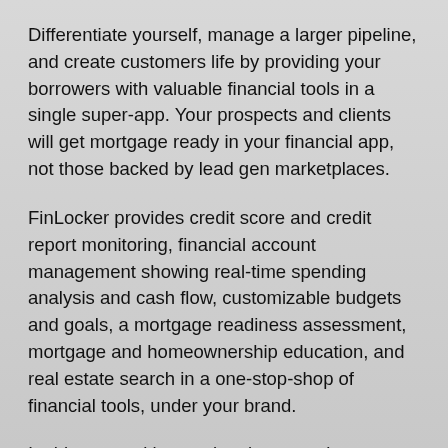Differentiate yourself, manage a larger pipeline, and create customers life by providing your borrowers with valuable financial tools in a single super-app. Your prospects and clients will get mortgage ready in your financial app, not those backed by lead gen marketplaces.
FinLocker provides credit score and credit report monitoring, financial account management showing real-time spending analysis and cash flow, customizable budgets and goals, a mortgage readiness assessment, mortgage and homeownership education, and real estate search in a one-stop-shop of financial tools, under your brand.
In this competitive marketplace, staying meaningfully engaged with your borrowers is more important than ever. Sign up today to have FinLocker as your...